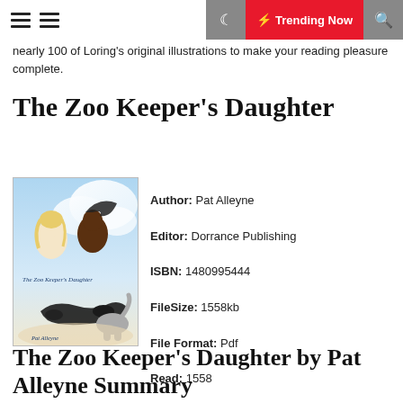≡ ≡   🌙  ⚡ Trending Now  🔍
nearly 100 of Loring's original illustrations to make your reading pleasure complete.
The Zoo Keeper's Daughter
[Figure (illustration): Book cover of The Zoo Keeper's Daughter showing two figures and animals]
Author: Pat Alleyne
Editor: Dorrance Publishing
ISBN: 1480995444
FileSize: 1558kb
File Format: Pdf
Read: 1558
The Zoo Keeper's Daughter by Pat Alleyne Summary